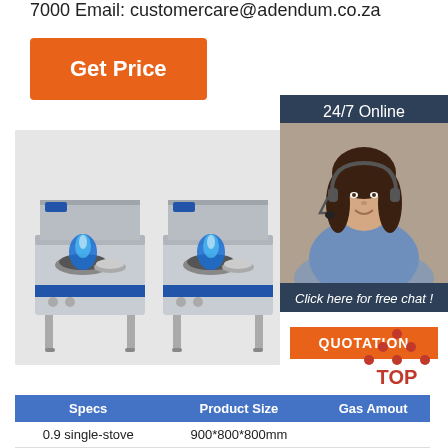7000 Email: customercare@adendum.co.za
Get Price
[Figure (photo): Woman with headset smiling, customer support representative, with '24/7 Online' banner and 'Click here for free chat!' text, and QUOTATION button]
[Figure (photo): Two stainless steel single-burner commercial gas stoves with blue flames shown side by side on a light grey background]
[Figure (other): TOP badge logo with red diamond/triangle dots above the word TOP in red]
| Specs | Product Size | Gas Amout |
| --- | --- | --- |
| 0.9 single-stove | 900*800*800mm |  |